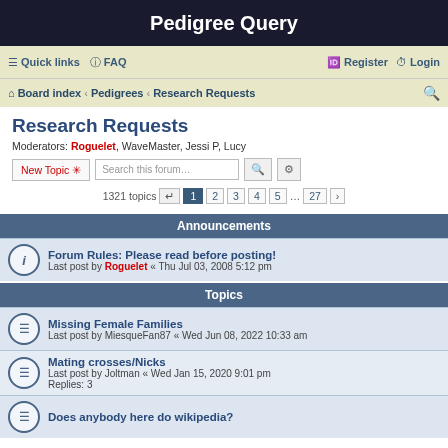Pedigree Query
≡ Quick links  ? FAQ   Register  Login
Board index · Pedigrees · Research Requests
Research Requests
Moderators: Roguelet, WaveMaster, Jessi P, Lucy
New Topic   Search this forum…   🔍  ⚙
1321 topics  1  2  3  4  5  ...  27  ›
Announcements
Forum Rules: Please read before posting!
Last post by Roguelet « Thu Jul 03, 2008 5:12 pm
Topics
Missing Female Families
Last post by MiesqueFan87 « Wed Jun 08, 2022 10:33 am
Mating crosses/Nicks
Last post by Joltman « Wed Jan 15, 2020 9:01 pm
Replies: 3
Does anybody here do wikipedia?